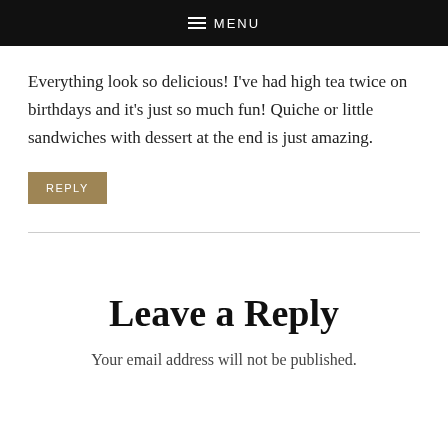MENU
Everything look so delicious! I've had high tea twice on birthdays and it's just so much fun! Quiche or little sandwiches with dessert at the end is just amazing.
REPLY
Leave a Reply
Your email address will not be published.